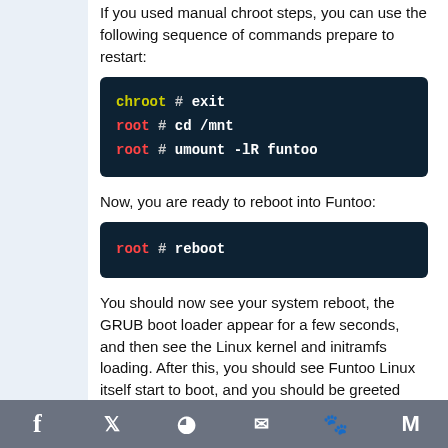LiveCD shell.
If you used manual chroot steps, you can use the following sequence of commands prepare to restart:
chroot # exit
root # cd /mnt
root # umount -lR funtoo
Now, you are ready to reboot into Funtoo:
root # reboot
You should now see your system reboot, the GRUB boot loader appear for a few seconds, and then see the Linux kernel and initramfs loading. After this, you should see Funtoo Linux itself start to boot, and you should be greeted with a login: prompt. Funtoo Linux has been